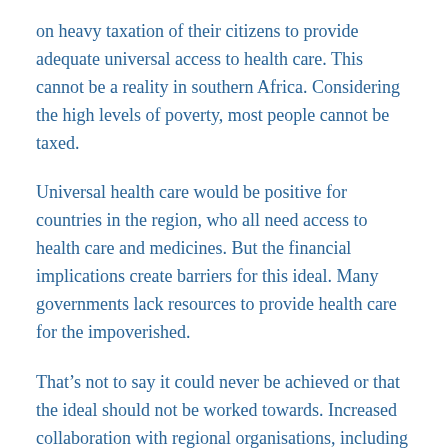on heavy taxation of their citizens to provide adequate universal access to health care. This cannot be a reality in southern Africa. Considering the high levels of poverty, most people cannot be taxed.
Universal health care would be positive for countries in the region, who all need access to health care and medicines. But the financial implications create barriers for this ideal. Many governments lack resources to provide health care for the impoverished.
That’s not to say it could never be achieved or that the ideal should not be worked towards. Increased collaboration with regional organisations, including the Southern African Development Community could assist in creating regional solutions for universal access to health care for the region. This would allow for stronger partnerships and increased funding to mitigate these challenges, and develop solutions to challenges faced by the Global South.